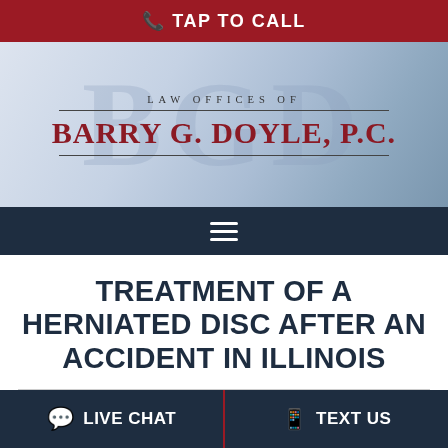TAP TO CALL
[Figure (logo): Law Offices of Barry G. Doyle, P.C. firm logo with watermark BGD initials and city skyline background]
TREATMENT OF A HERNIATED DISC AFTER AN ACCIDENT IN ILLINOIS
LIVE CHAT   TEXT US